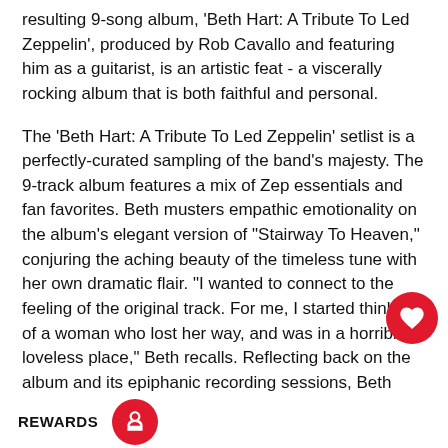resulting 9-song album, 'Beth Hart: A Tribute To Led Zeppelin', produced by Rob Cavallo and featuring him as a guitarist, is an artistic feat - a viscerally rocking album that is both faithful and personal.

The 'Beth Hart: A Tribute To Led Zeppelin' setlist is a perfectly-curated sampling of the band's majesty. The 9-track album features a mix of Zep essentials and fan favorites. Beth musters empathic emotionality on the album's elegant version of "Stairway To Heaven," conjuring the aching beauty of the timeless tune with her own dramatic flair. "I wanted to connect to the feeling of the original track. For me, I started thinking of a woman who lost her way, and was in a horrible loveless place," Beth recalls. Reflecting back on the album and its epiphanic recording sessions, Beth says: "I was able to exorcise a lot of demons making this record. It was also just a really special experience creating with such am                    e, and respectful people as Rob, Do                    She continues: "Art and music are about seeking the truth, and you need friends and
[Figure (other): Red circular heart/favourite button overlaid on the text]
[Figure (other): REWARDS bar at the bottom with a red circular icon containing a cake/gift symbol]